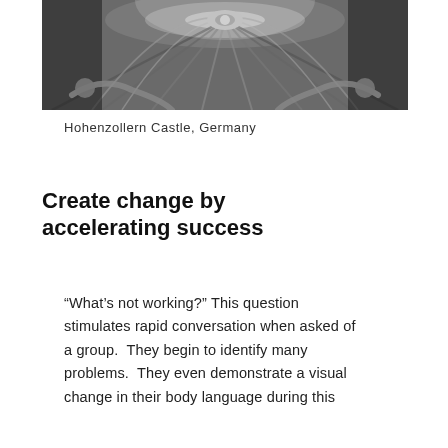[Figure (photo): Black and white photograph taken from below looking up at a spiral staircase with ornate ironwork, appearing to be inside Hohenzollern Castle, Germany.]
Hohenzollern Castle, Germany
Create change by accelerating success
“What’s not working?” This question stimulates rapid conversation when asked of a group.  They begin to identify many problems.  They even demonstrate a visual change in their body language during this